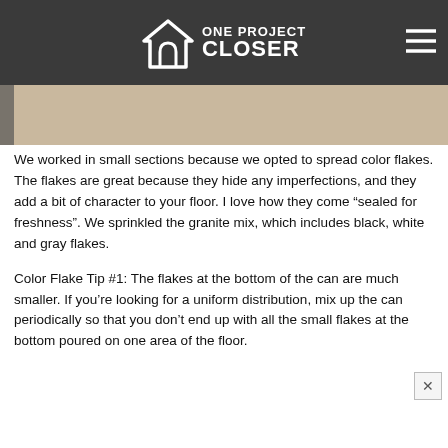ONE PROJECT CLOSER
[Figure (photo): Partial view of a floor installation process showing a corner piece and a small red object on a beige/tan concrete floor surface]
We worked in small sections because we opted to spread color flakes. The flakes are great because they hide any imperfections, and they add a bit of character to your floor. I love how they come “sealed for freshness”. We sprinkled the granite mix, which includes black, white and gray flakes.
Color Flake Tip #1: The flakes at the bottom of the can are much smaller. If you’re looking for a uniform distribution, mix up the can periodically so that you don’t end up with all the small flakes at the bottom poured on one area of the floor.